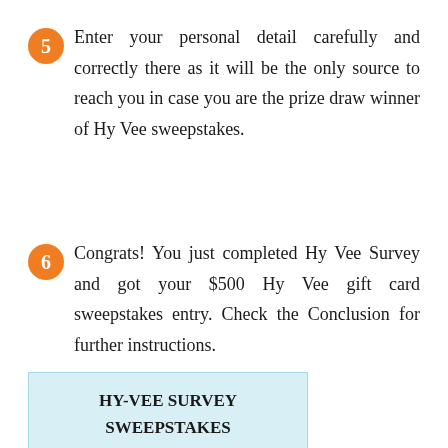5  Enter your personal detail carefully and correctly there as it will be the only source to reach you in case you are the prize draw winner of Hy Vee sweepstakes.
6  Congrats! You just completed Hy Vee Survey and got your $500 Hy Vee gift card sweepstakes entry. Check the Conclusion for further instructions.
HY-VEE SURVEY SWEEPSTAKES